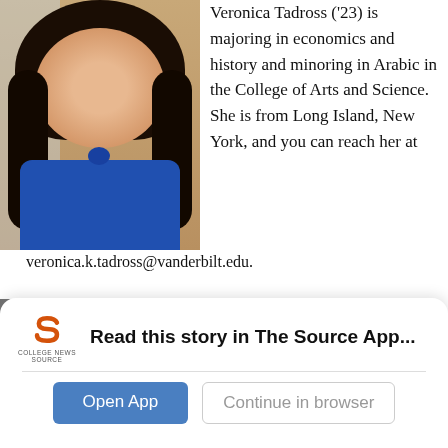[Figure (photo): Headshot of Veronica Tadross, a young woman with long dark hair, wearing a blue top, against a brick background]
Veronica Tadross ('23) is majoring in economics and history and minoring in Arabic in the College of Arts and Science. She is from Long Island, New York, and you can reach her at
veronica.k.tadross@vanderbilt.edu.
[Figure (photo): Headshot of Emery Little, a young woman with reddish-orange hair, smiling, with a blurred background]
Emery Little, Former Social Media Director
Emery Little ('22) is from Birmingham, AL. She majored in communication of science and
Read this story in The Source App...
Open App
Continue in browser